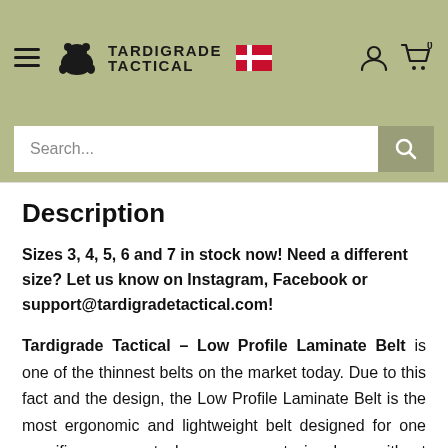Tardigrade Tactical header with logo, hamburger menu, and cart icon
Search...
Description
Sizes 3, 4, 5, 6 and 7 in stock now! Need a different size? Let us know on Instagram, Facebook or support@tardigradetactical.com!
Tardigrade Tactical – Low Profile Laminate Belt is one of the thinnest belts on the market today. Due to this fact and the design, the Low Profile Laminate Belt is the most ergonomic and lightweight belt designed for one specific purpose: to keep your pants in place, without causing discomfort – especially